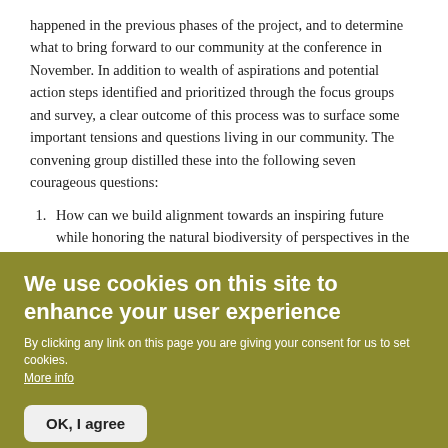happened in the previous phases of the project, and to determine what to bring forward to our community at the conference in November. In addition to wealth of aspirations and potential action steps identified and prioritized through the focus groups and survey, a clear outcome of this process was to surface some important tensions and questions living in our community. The convening group distilled these into the following seven courageous questions:
How can we build alignment towards an inspiring future while honoring the natural biodiversity of perspectives in the movement?
How can we share biodynamics with more farmers, gardeners, and consumers while maintaining the integrity of Biodynamic
We use cookies on this site to enhance your user experience
By clicking any link on this page you are giving your consent for us to set cookies. More info
OK, I agree